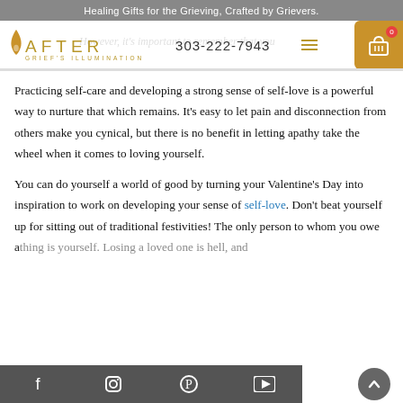Healing Gifts for the Grieving, Crafted by Grievers.
[Figure (logo): After Grief's Illumination logo with flame icon, phone number 303-222-7943, hamburger menu, and shopping cart]
Practicing self-care and developing a strong sense of self-love is a powerful way to nurture that which remains. It's easy to let pain and disconnection from others make you cynical, but there is no benefit in letting apathy take the wheel when it comes to loving yourself.
You can do yourself a world of good by turning your Valentine's Day into inspiration to work on developing your sense of self-love. Don't beat yourself up for sitting out of traditional festivities! The only person to whom you owe anything is yourself. Losing a loved one is hell, and